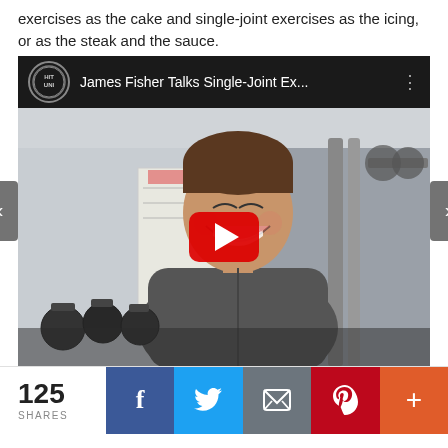exercises as the cake and single-joint exercises as the icing, or as the steak and the sauce.
[Figure (screenshot): Embedded YouTube video thumbnail showing James Fisher laughing in a gym setting. Video title bar reads 'James Fisher Talks Single-Joint Ex...' with a play button overlay. Navigation arrows on left and right sides.]
125 SHARES
[Figure (infographic): Social share bar with Facebook (blue), Twitter (light blue), Email (grey), Pinterest (red), and More (+) (orange) buttons.]